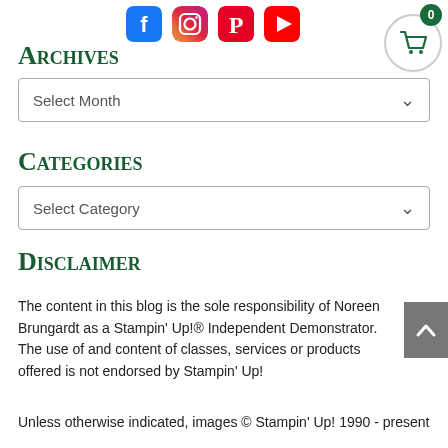[Figure (illustration): Social media icons: Facebook (blue), Instagram (gradient), Pinterest (red), YouTube (red) shown as rounded square icons in a row at the top center]
[Figure (illustration): Shopping cart button: white circle with dark green basket icon, dark green badge showing '0' in top right]
Archives
[Figure (screenshot): Dropdown select box labeled 'Select Month' with chevron arrow on right]
Categories
[Figure (screenshot): Dropdown select box labeled 'Select Category' with chevron arrow on right]
Disclaimer
The content in this blog is the sole responsibility of Noreen Brungardt as a Stampin' Up!® Independent Demonstrator.  The use of and content of classes, services or products offered is not endorsed by Stampin' Up!
Unless otherwise indicated, images © Stampin' Up! 1990 - present